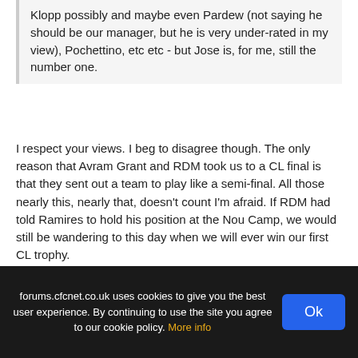Klopp possibly and maybe even Pardew (not saying he should be our manager, but he is very under-rated in my view), Pochettino, etc etc - but Jose is, for me, still the number one.
I respect your views. I beg to disagree though. The only reason that Avram Grant and RDM took us to a CL final is that they sent out a team to play like a semi-final. All those nearly this, nearly that, doesn't count I'm afraid. If RDM had told Ramires to hold his position at the Nou Camp, we would still be wandering to this day when we will ever win our first CL trophy.
Jose Mourinho's 3 semi finals for Chelsea were arguably some of the easiest ones (bar the one of Ranieri). He also had the strongest teams of our 7 semi finals. His performances in all three were cowardly. He waited for our opponents to lose. Interestingly when Ranieri messed up against Monaco we were all on his case. Many even slated Avram Grant for our Moscow disappointment.
forums.cfcnet.co.uk uses cookies to give you the best user experience. By continuing to use the site you agree to our cookie policy. More info